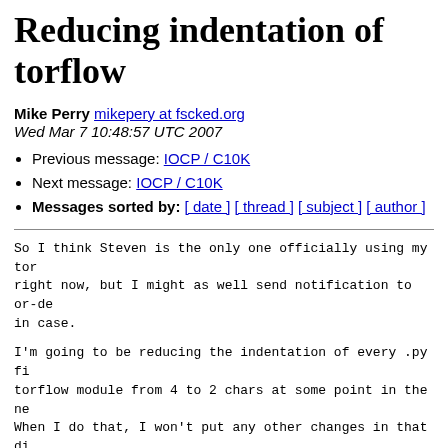Reducing indentation of torflow
Mike Perry mikepery at fscked.org
Wed Mar 7 10:48:57 UTC 2007
Previous message: IOCP / C10K
Next message: IOCP / C10K
Messages sorted by: [ date ] [ thread ] [ subject ] [ author ]
So I think Steven is the only one officially using my torflow right now, but I might as well send notification to or-de in case.
I'm going to be reducing the indentation of every .py fi torflow module from 4 to 2 chars at some point in the ne When I do that, I won't put any other changes in that di gets lost in the noise (except for my super secret change take over the world).
Sorry about this, but python doesn't really like breaking across multiple lines without a \ in most cases, and tha of ugly. I also have a few really long dictionary+object wrap 80 chars now because of the 4 space indent, and this